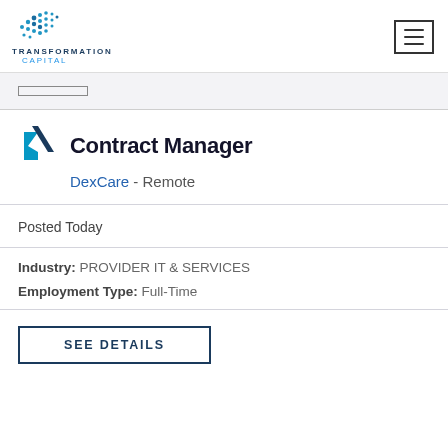TRANSFORMATION CAPITAL
Contract Manager
DexCare - Remote
Posted Today
Industry: PROVIDER IT & SERVICES
Employment Type: Full-Time
SEE DETAILS